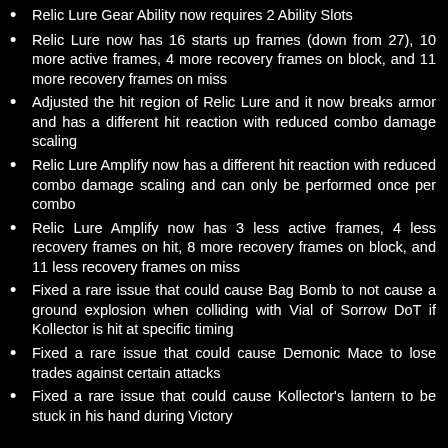Relic Lure Gear Ability now requires 2 Ability Slots
Relic Lure now has 16 starts up frames (down from 27), 10 more active frames, 4 more recovery frames on block, and 11 more recovery frames on miss
Adjusted the hit region of Relic Lure and it now breaks armor and has a different hit reaction with reduced combo damage scaling
Relic Lure Amplify now has a different hit reaction with reduced combo damage scaling and can only be performed once per combo
Relic Lure Amplify now has 3 less active frames, 4 less recovery frames on hit, 8 more recovery frames on block, and 11 less recovery frames on miss
Fixed a rare issue that could cause Bag Bomb to not cause a ground explosion when colliding with Vial of Sorrow DoT if Kollector is hit at specific timing
Fixed a rare issue that could cause Demonic Mace to lose trades against certain attacks
Fixed a rare issue that could cause Kollector's lantern to be stuck in his hand during Victory